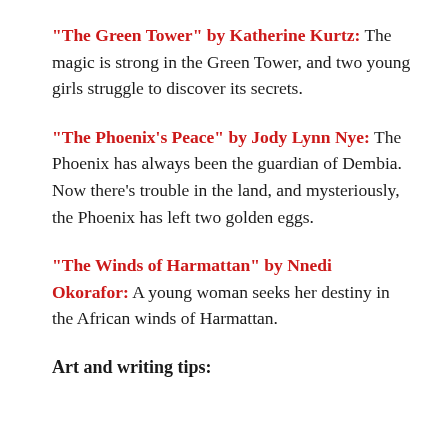“The Green Tower” by Katherine Kurtz: The magic is strong in the Green Tower, and two young girls struggle to discover its secrets.
“The Phoenix’s Peace” by Jody Lynn Nye: The Phoenix has always been the guardian of Dembia. Now there’s trouble in the land, and mysteriously, the Phoenix has left two golden eggs.
“The Winds of Harmattan” by Nnedi Okorafor: A young woman seeks her destiny in the African winds of Harmattan.
Art and writing tips: